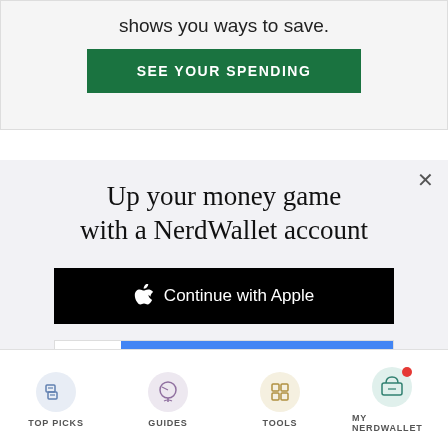shows you ways to save.
[Figure (screenshot): Green 'SEE YOUR SPENDING' button]
Up your money game with a NerdWallet account
[Figure (screenshot): Black 'Continue with Apple' button with Apple logo]
[Figure (screenshot): Blue 'Continue with Google' button with white Google G logo box]
or continue with email
By signing up, I agree to NerdWallet's Terms of Service and Privacy Policy.
TOP PICKS   GUIDES   TOOLS   MY NERDWALLET